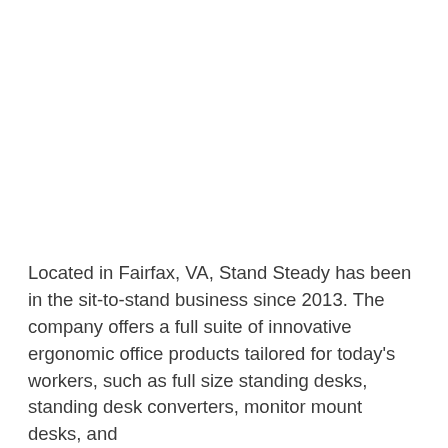Located in Fairfax, VA, Stand Steady has been in the sit-to-stand business since 2013. The company offers a full suite of innovative ergonomic office products tailored for today's workers, such as full size standing desks, standing desk converters, monitor mount desks, and